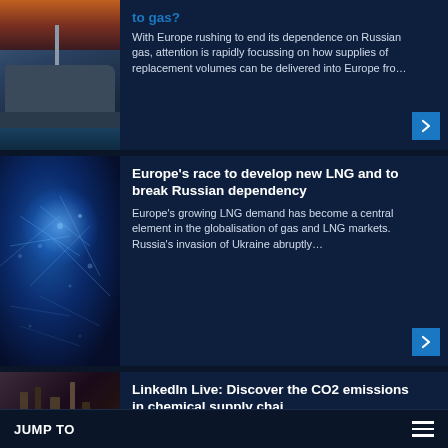[Figure (photo): LNG tanker ship docked at port during sunset/dusk, viewed from the side with orange-red sky]
to gas?
With Europe rushing to end its dependence on Russian gas, attention is rapidly focussing on how supplies of replacement volumes can be delivered into Europe fro...
[Figure (photo): Digital globe with network connections and glowing blue light, representing global energy networks]
Europe's race to develop new LNG and to break Russian dependency
Europe's growing LNG demand has become a central element in the globalisation of gas and LNG markets. Russia's invasion of Ukraine abruptly...
[Figure (photo): Industrial chemical plant or refinery at dusk/night with orange glow]
LinkedIn Live: Discover the CO2 emissions in chemical supply chai...
JUMP TO